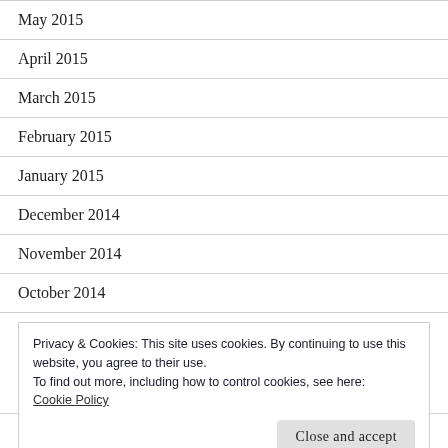May 2015
April 2015
March 2015
February 2015
January 2015
December 2014
November 2014
October 2014
Privacy & Cookies: This site uses cookies. By continuing to use this website, you agree to their use.
To find out more, including how to control cookies, see here:
Cookie Policy
Close and accept
May 2014